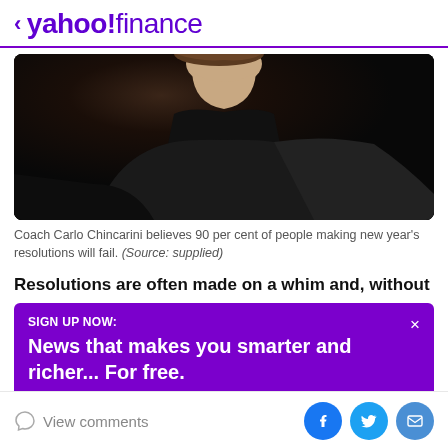< yahoo!finance
[Figure (photo): A person wearing a black outfit photographed against a dark background, showing their profile/side view from the chin down to the shoulders.]
Coach Carlo Chincarini believes 90 per cent of people making new year's resolutions will fail. (Source: supplied)
Resolutions are often made on a whim and, without
SIGN UP NOW:
News that makes you smarter and richer... For free.
View comments